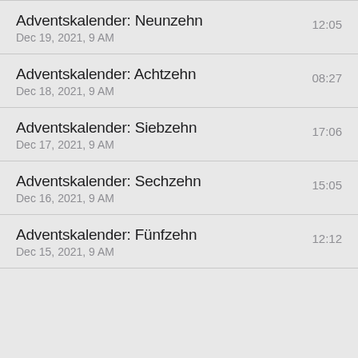Adventskalender: Neunzehn
Dec 19, 2021, 9 AM	12:05
Adventskalender: Achtzehn
Dec 18, 2021, 9 AM	08:27
Adventskalender: Siebzehn
Dec 17, 2021, 9 AM	17:06
Adventskalender: Sechzehn
Dec 16, 2021, 9 AM	15:05
Adventskalender: Fünfzehn
Dec 15, 2021, 9 AM	12:12